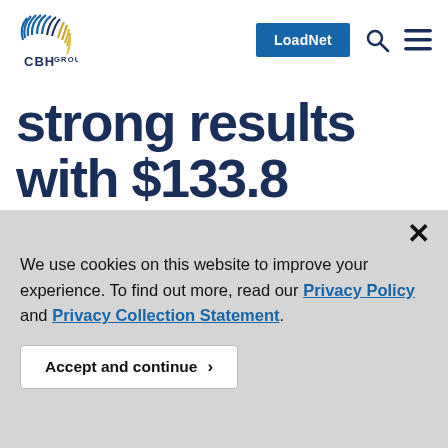[Figure (logo): CBH Group logo — stylized circular fan graphic in blue and gold, with text 'CBH GROUP']
strong results with $133.8 million surplus
We use cookies on this website to improve your experience. To find out more, read our Privacy Policy and Privacy Collection Statement.
Accept and continue